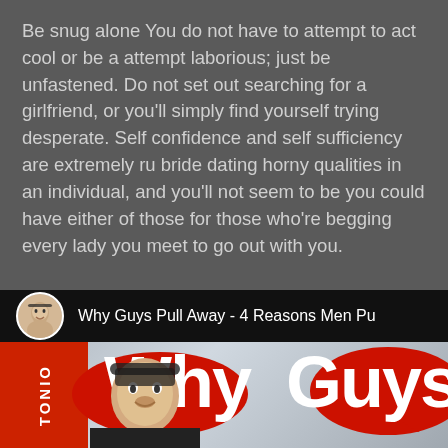Be snug alone You do not have to attempt to act cool or be a attempt laborious; just be unfastened. Do not set out searching for a girlfriend, or you'll simply find yourself trying desperate. Self confidence and self sufficiency are extremely ru bride dating horny qualities in an individual, and you'll not seem to be you could have either of those for those who're begging every lady you meet to go out with you.
[Figure (screenshot): A YouTube video thumbnail/preview showing 'Why Guys Pull Away - 4 Reasons Men Pu...' with a circular avatar of a man in a black shirt on the top bar. Below is a thumbnail with a red stripe on the left with 'TONIO' written vertically, large red speech bubble shapes, and white bold text reading 'Why Guys' with a man's face appearing from the bottom center.]